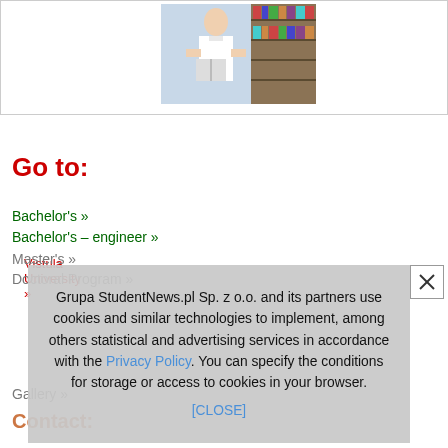[Figure (photo): Person reading a book in a library, standing among bookshelves]
Vistula University »
Go to:
Bachelor's »
Bachelor's – engineer »
Master's »
Doctoral Program »
Gallery »
Contact:
Grupa StudentNews.pl Sp. z o.o. and its partners use cookies and similar technologies to implement, among others statistical and advertising services in accordance with the Privacy Policy. You can specify the conditions for storage or access to cookies in your browser. [CLOSE]